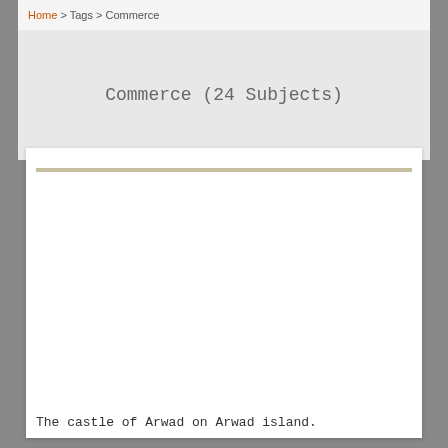Home > Tags > Commerce
Commerce (24 Subjects)
[Figure (photo): A white card area with a tan horizontal rule at the top, containing a large blank image area.]
The castle of Arwad on Arwad island.